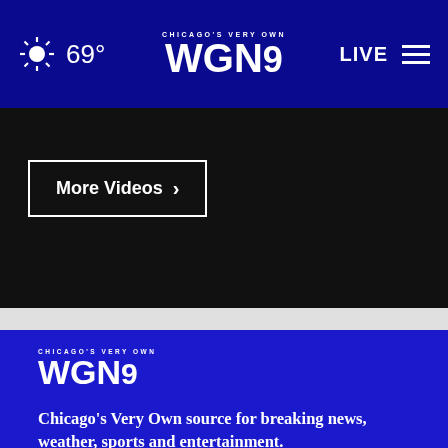69° CHICAGO'S VERY OWN WGN9 LIVE
[Figure (screenshot): WGN9 Chicago TV station website header with dark navy navigation bar showing sun/weather icon at 69 degrees, WGN9 logo centered, and LIVE button with hamburger menu on right]
More Videos ›
[Figure (logo): WGN9 Chicago's Very Own logo in white on blue background]
Chicago's Very Own source for breaking news, weather, sports and entertainment.